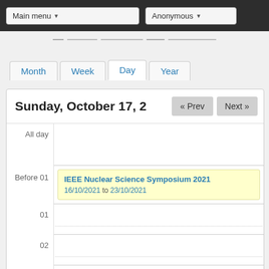Main menu | Anonymous
Month  Week  Day  Year
Sunday, October 17, 2021
All day
Before 01
IEEE Nuclear Science Symposium 2021
16/10/2021 to 23/10/2021
01
02
03